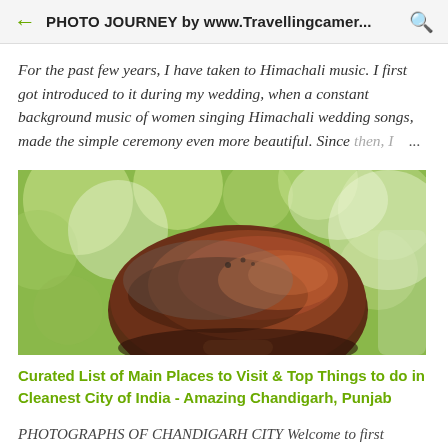PHOTO JOURNEY by www.Travellingcamer...
For the past few years, I have taken to Himachali music. I first got introduced to it during my wedding, when a constant background music of women singing Himachali wedding songs, made the simple ceremony even more beautiful. Since then, I ...
[Figure (photo): Close-up photograph of a dark brown rounded mushroom or fungus with a blurred green bokeh background]
Curated List of Main Places to Visit & Top Things to do in Cleanest City of India - Amazing Chandigarh, Punjab
PHOTOGRAPHS OF CHANDIGARH CITY Welcome to first Smoke-